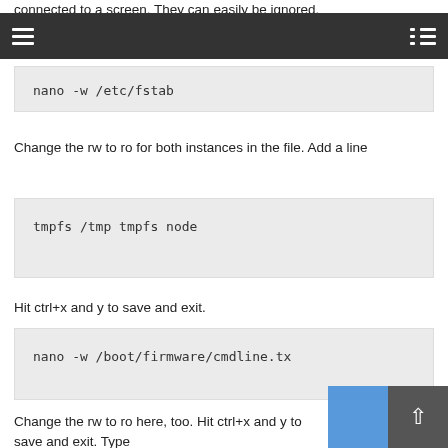connected to a screen. They can easily be ignored.
navigation bar
nano -w /etc/fstab
Change the rw to ro for both instances in the file. Add a line
tmpfs    /tmp             tmpfs    node
Hit ctrl+x and y to save and exit.
nano -w /boot/firmware/cmdline.tx
Change the rw to ro here, too. Hit ctrl+x and y to save and exit. Type